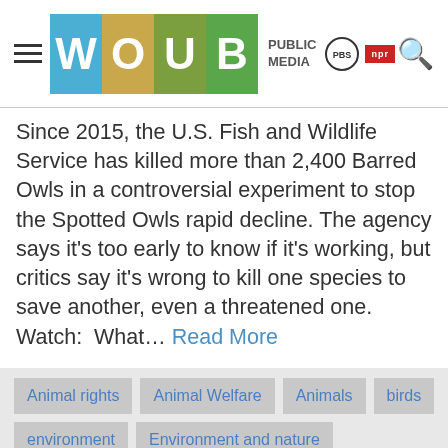WOUB PUBLIC MEDIA PBS NPR
Since 2015, the U.S. Fish and Wildlife Service has killed more than 2,400 Barred Owls in a controversial experiment to stop the Spotted Owls rapid decline. The agency says it's too early to know if it's working, but critics say it's wrong to kill one species to save another, even a threatened one. Watch:  What… Read More
Animal rights
Animal Welfare
Animals
birds
environment
Environment and nature
Environmental conservation and preservation
Natural resource management
Owls
What Can Be Saved?
Wildlife
Wildlife Management